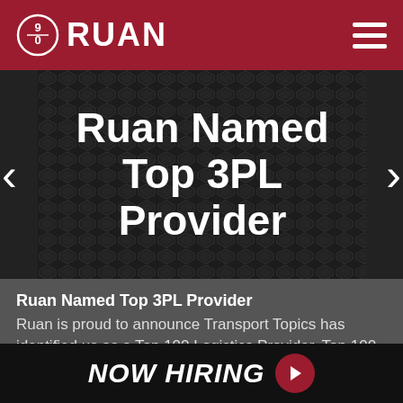RUAN
[Figure (screenshot): Carousel banner with diamond plate metal background texture and white bold text reading 'Ruan Named Top 3PL Provider' with left and right navigation arrows]
Ruan Named Top 3PL Provider
Ruan is proud to announce Transport Topics has identified us as a Top 100 Logistics Provider, Top 100 Dedicated Contract Car...Read More >
NOW HIRING